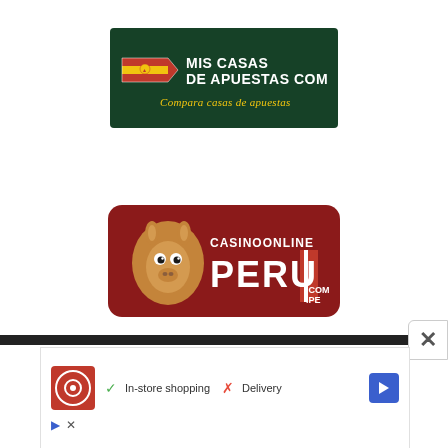[Figure (logo): Mis Casas de Apuestas .com logo — dark green background with Spanish flag tag and text 'MIS CASAS DE APUESTAS COM' and italic yellow text 'Compara casas de apuestas']
[Figure (logo): CasinoOnline Peru .com.pe logo — dark red/maroon rounded rectangle with cartoon llama on left and white bold text 'CASINOONLINE PERU.COM.PE' with Peruvian flag stripe]
[Figure (infographic): Bottom advertisement bar showing Dash In logo (red circle on red square), green checkmark with 'In-store shopping', red X with 'Delivery', and blue navigation arrow icon. Below are small blue play triangle icon and X icon.]